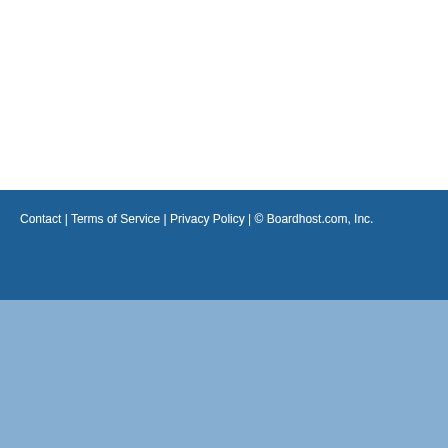Contact | Terms of Service | Privacy Policy | © Boardhost.com, Inc.    Th